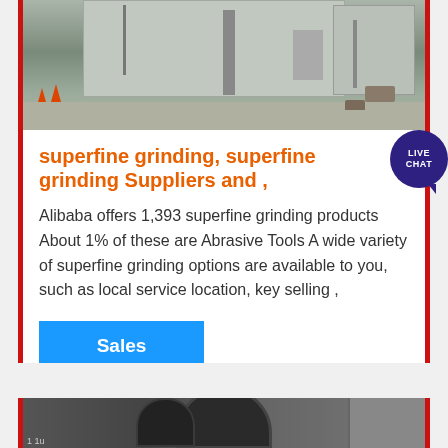[Figure (photo): Construction site with industrial buildings and workers in the background, traffic cone visible]
superfine grinding, superfine grinding Suppliers and ,
Alibaba offers 1,393 superfine grinding products About 1% of these are Abrasive Tools A wide variety of superfine grinding options are available to you, such as local service location, key selling ,
Sales Online
[Figure (photo): Industrial pipes and silos — grinding equipment machinery]